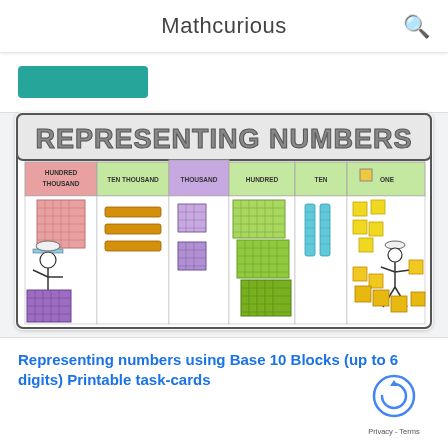Mathcurious
[Figure (illustration): Educational math illustration titled 'REPRESENTING NUMBERS' showing a place value chart with columns: Hundred Thousand, Ten Thousand, Thousand, Hundred, Ten, One. Each column contains Base 10 block representations (large cube, flat squares, rods, small cubes). Stick figure characters wearing explorer hats interact with the blocks.]
Representing numbers using Base 10 Blocks (up to 6 digits) Printable task-cards